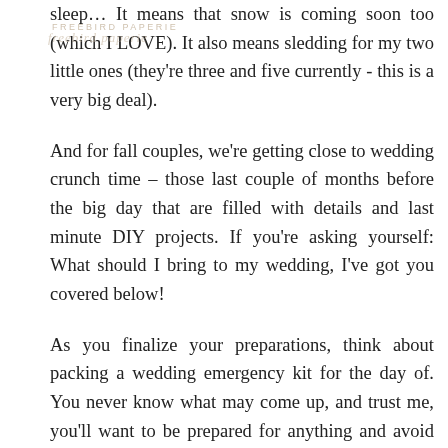[Figure (logo): Freebird Paperie watermark logo with script text overlay]
sleep… It means that snow is coming soon too (which I LOVE). It also means sledding for my two little ones (they're three and five currently - this is a very big deal).
And for fall couples, we're getting close to wedding crunch time – those last couple of months before the big day that are filled with details and last minute DIY projects. If you're asking yourself: What should I bring to my wedding, I've got you covered below!
As you finalize your preparations, think about packing a wedding emergency kit for the day of. You never know what may come up, and trust me, you'll want to be prepared for anything and avoid having a sweet friend or bridesmaid run to the store for you. What if you get sick at your wedding? What if your dress rips? What if mosquitoes unexpectedly attack? What if it rains on